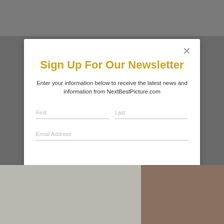Sign Up For Our Newsletter
Enter your information below to receive the latest news and information from NextBestPicture.com
First
Last
Email Address
Subscribe